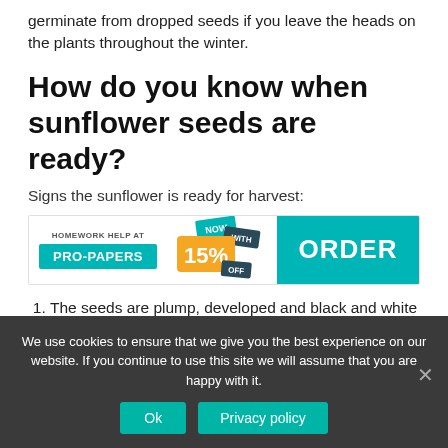germinate from dropped seeds if you leave the heads on the plants throughout the winter.
How do you know when sunflower seeds are ready?
Signs the sunflower is ready for harvest:
[Figure (infographic): Pro-Papers homework help advertisement banner with teal background ORDER button and 15% off discount badge]
The seeds are plump, developed and black and white striped.
The flower petals have dried and fallen off.
The back of the sunflower has turned from
We use cookies to ensure that we give you the best experience on our website. If you continue to use this site we will assume that you are happy with it.